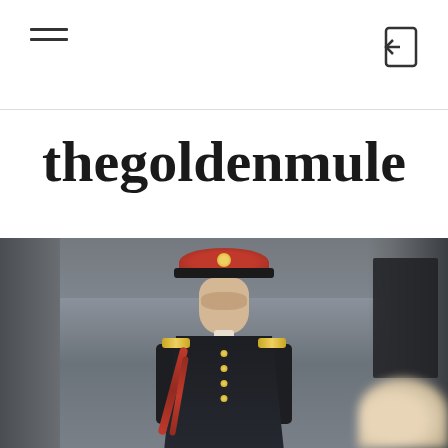navigation header with hamburger menu and login icon
thegoldenmule
[Figure (photo): A military or ceremonial guard in a dark formal uniform with gold epaulettes, a red peaked cap, and red sash/lanyard, standing at attention in front of a dark architectural background. A blurred foreground figure is partially visible in the lower right corner.]